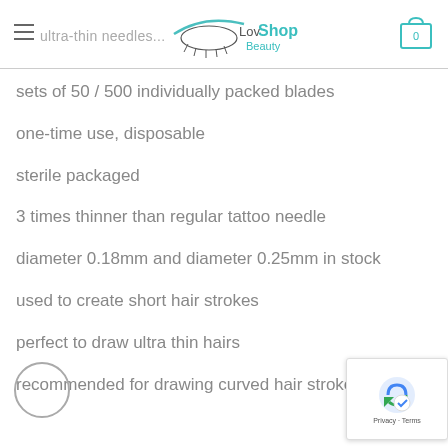ultra-thin needles — LovShop Beauty
sets of 50 / 500 individually packed blades
one-time use, disposable
sterile packaged
3 times thinner than regular tattoo needle
diameter 0.18mm and diameter 0.25mm in stock
used to create short hair strokes
perfect to draw ultra thin hairs
recommended for drawing curved hair strokes